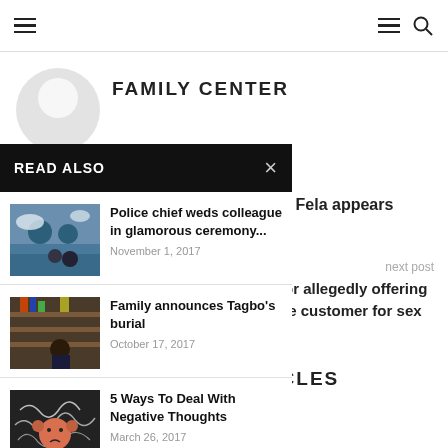FAMILY CENTER
READ ALSO
Police chief weds colleague in glamorous ceremony... November 1, 2017
Family announces Tagbo's burial October 17, 2017
5 Ways To Deal With Negative Thoughts March 26, 2017